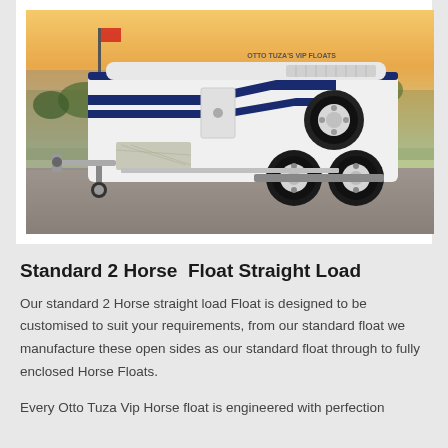[Figure (photo): A white and navy blue horse float (trailer) with dual axle and spare tire mounted on the side, photographed outdoors. Text 'OTTO TUZA'S VIP FLOATS' visible in top right of trailer.]
Standard 2 Horse  Float Straight Load
Our standard 2 Horse straight load Float is designed to be customised to suit your requirements, from our standard float we manufacture these open sides as our standard float through to fully enclosed Horse Floats.
Every Otto Tuza Vip Horse float is engineered with perfection